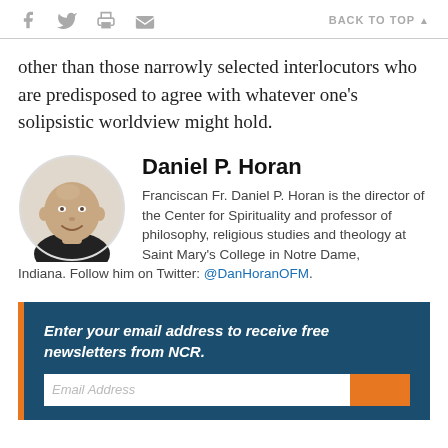Social share icons and BACK TO TOP
other than those narrowly selected interlocutors who are predisposed to agree with whatever one's solipsistic worldview might hold.
[Figure (photo): Circular headshot photo of Daniel P. Horan, a bald man wearing a black shirt, smiling.]
Daniel P. Horan
Franciscan Fr. Daniel P. Horan is the director of the Center for Spirituality and professor of philosophy, religious studies and theology at Saint Mary's College in Notre Dame, Indiana. Follow him on Twitter: @DanHoranOFM.
Enter your email address to receive free newsletters from NCR.